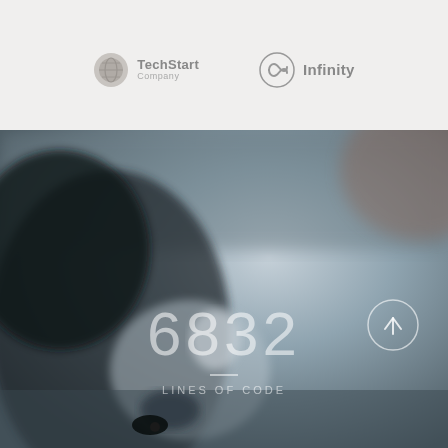[Figure (logo): TechStart Company logo — circular grey icon with globe/sphere graphic, text 'TechStart' in grey bold and 'Company' subtitle below]
[Figure (logo): Infinity logo — circular grey infinity symbol icon, text 'Infinity' in grey bold next to it]
[Figure (photo): Blurred photo of a person's profile/side face (appears Asian, wearing glasses), with a large blurred background in blue-grey tones. Overlaid text shows '6832' in large semi-transparent white numerals, a horizontal divider line, and 'LINES OF CODE' in spaced caps below. A circular arrow-up button is visible in the bottom right area.]